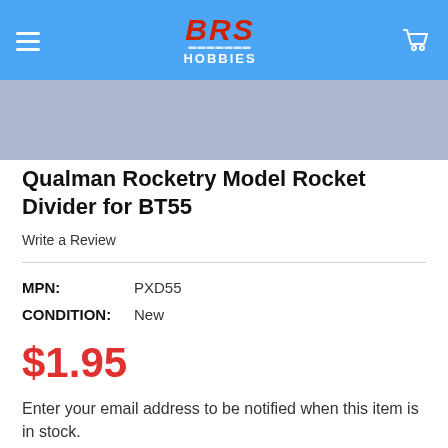BRS HOBBIES
[Figure (photo): Product image strip showing a blue/purple textured background, likely a partial view of the rocket divider product]
Qualman Rocketry Model Rocket Divider for BT55
Write a Review
MPN:   PXD55
CONDITION:   New
$1.95
Enter your email address to be notified when this item is in stock.